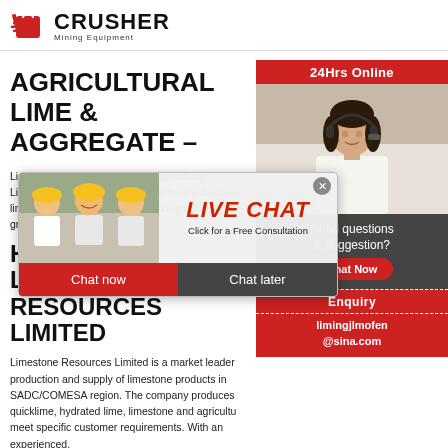[Figure (logo): Crusher Mining Equipment logo with red shopping bag icon and bold CRUSHER text]
AGRICULTURAL LIME & AGGREGATE -
Lime your soil for better crops: Agricultural Limestone is a soil additive made from pulverized limestone. Commonly known as calcium carbonate. A natural high quality, natu...
HOME – LIMESTONE RESOURCES LIMITED
Limestone Resources Limited is a market leader in the production and supply of limestone products in the SADC/COMESA region. The company produces quicklime, hydrated lime, limestone and agricultural lime to meet specific customer requirements. With an experienced...
[Figure (screenshot): Live Chat popup overlay showing workers in hard hats on left, LIVE CHAT text in red italic, Click for a Free Consultation subtitle, Chat now (red) and Chat later (dark) buttons]
[Figure (photo): Right sidebar with 24Hrs Online red header, photo of woman with headset, Need questions & suggestion? section with Chat Now button, Enquiry section, and limingjlmofen@sina.com email]